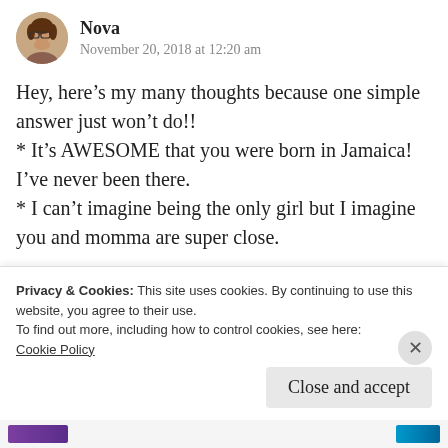[Figure (photo): Circular avatar photo of a woman with glasses, brown hair]
Nova
November 20, 2018 at 12:20 am
Hey, here’s my many thoughts because one simple answer just won’t do!! * It’s AWESOME that you were born in Jamaica! I’ve never been there. * I can’t imagine being the only girl but I imagine you and momma are super close.
Privacy & Cookies: This site uses cookies. By continuing to use this website, you agree to their use.
To find out more, including how to control cookies, see here:
Cookie Policy
Close and accept